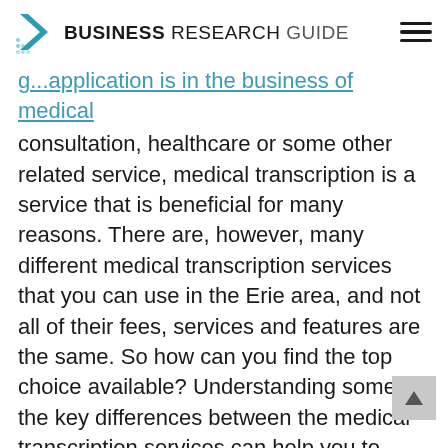BUSINESS RESEARCH GUIDE
g...application is in the business of medical
consultation, healthcare or some other related service, medical transcription is a service that is beneficial for many reasons. There are, however, many different medical transcription services that you can use in the Erie area, and not all of their fees, services and features are the same. So how can you find the top choice available? Understanding some of the key differences between the medical transcription services can help you to better identify the best medical transcription service in Erie PA for your needs.
Choosing the Best Medical